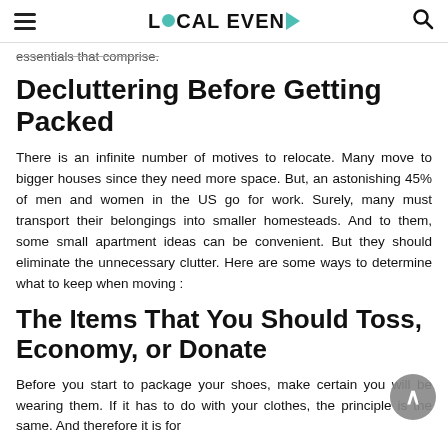LOCAL EVEN►
essentials that comprise.
Decluttering Before Getting Packed
There is an infinite number of motives to relocate. Many move to bigger houses since they need more space. But, an astonishing 45% of men and women in the US go for work. Surely, many must transport their belongings into smaller homesteads. And to them, some small apartment ideas can be convenient. But they should eliminate the unnecessary clutter. Here are some ways to determine what to keep when moving :
The Items That You Should Toss, Economy, or Donate
Before you start to package your shoes, make certain you will be wearing them. If it has to do with your clothes, the principle is the same. And therefore it is for